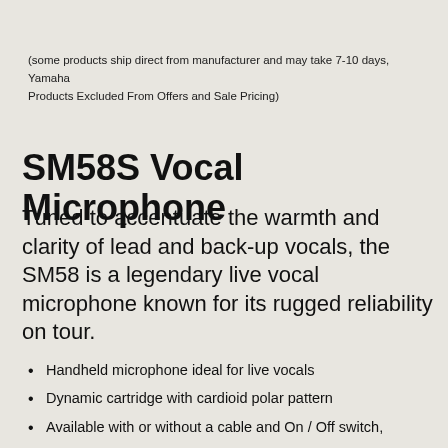(some products ship direct from manufacturer and may take 7-10 days, Yamaha Products Excluded From Offers and Sale Pricing)
SM58S Vocal Microphone
Tuned to accentuate the warmth and clarity of lead and back-up vocals, the SM58 is a legendary live vocal microphone known for its rugged reliability on tour.
Handheld microphone ideal for live vocals
Dynamic cartridge with cardioid polar pattern
Available with or without a cable and On / Off switch,